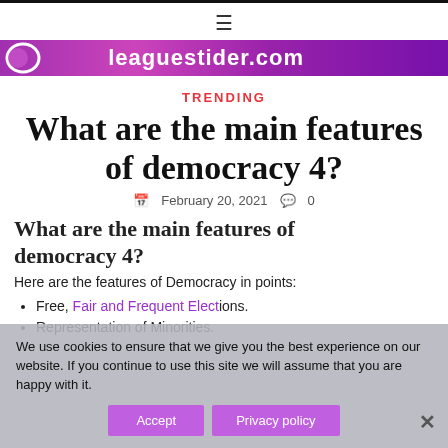≡
[Figure (logo): leaguestider.com website logo with purple swoosh and text on purple banner]
TRENDING
What are the main features of democracy 4?
February 20, 2021   0
What are the main features of democracy 4?
Here are the features of Democracy in points:
Free, Fair and Frequent Elections.
Representation of Minorities.
We use cookies to ensure that we give you the best experience on our website. If you continue to use this site we will assume that you are happy with it.